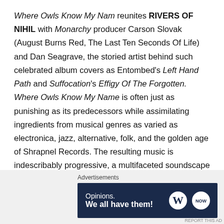Where Owls Know My Nam reunites RIVERS OF NIHIL with Monarchy producer Carson Slovak (August Burns Red, The Last Ten Seconds Of Life) and Dan Seagrave, the storied artist behind such celebrated album covers as Entombed's Left Hand Path and Suffocation's Effigy Of The Forgotten. Where Owls Know My Name is often just as punishing as its predecessors while assimilating ingredients from musical genres as varied as electronica, jazz, alternative, folk, and the golden age of Shrapnel Records. The resulting music is indescribably progressive, a multifaceted soundscape that goes beyond the wildest dreams of even the group's most ardent admirers.
Advertisements
[Figure (other): Advertisement banner with dark navy background reading 'Opinions. We all have them!' with WordPress and another logo on the right side.]